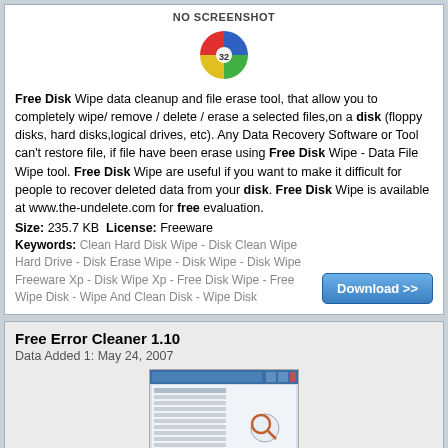[Figure (screenshot): No Screenshot placeholder icon with colored quadrant circle graphic and text 'NO SCREENSHOT']
Free Disk Wipe data cleanup and file erase tool, that allow you to completely wipe/ remove / delete / erase a selected files,on a disk (floppy disks, hard disks,logical drives, etc). Any Data Recovery Software or Tool can't restore file, if file have been erase using Free Disk Wipe - Data File Wipe tool. Free Disk Wipe are useful if you want to make it difficult for people to recover deleted data from your disk. Free Disk Wipe is available at www.the-undelete.com for free evaluation.
Size: 235.7 KB  License: Freeware
Keywords: Clean Hard Disk Wipe - Disk Clean Wipe Hard Drive - Disk Erase Wipe - Disk Wipe - Disk Wipe Freeware Xp - Disk Wipe Xp - Free Disk Wipe - Free Wipe Disk - Wipe And Clean Disk - Wipe Disk
[Figure (other): Download button with '>>' arrow]
Free Error Cleaner 1.10
Data Added 1: May 24, 2007
[Figure (screenshot): Screenshot of Free Error Cleaner application window]
Free Error Cleaner uses high-performance error identification algorithms to quickly identify missing and invalid references in your